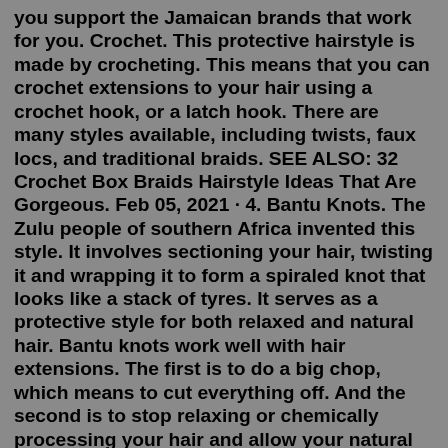you support the Jamaican brands that work for you. Crochet. This protective hairstyle is made by crocheting. This means that you can crochet extensions to your hair using a crochet hook, or a latch hook. There are many styles available, including twists, faux locs, and traditional braids. SEE ALSO: 32 Crochet Box Braids Hairstyle Ideas That Are Gorgeous. Feb 05, 2021 · 4. Bantu Knots. The Zulu people of southern Africa invented this style. It involves sectioning your hair, twisting it and wrapping it to form a spiraled knot that looks like a stack of tyres. It serves as a protective style for both relaxed and natural hair. Bantu knots work well with hair extensions. The first is to do a big chop, which means to cut everything off. And the second is to stop relaxing or chemically processing your hair and allow your natural hair to grow from underneath. If you go for the big chop, you are taking your natural hair journey from transitioning to officially a hundred percent natural in a matter of minutes ...Feb 05, 2021